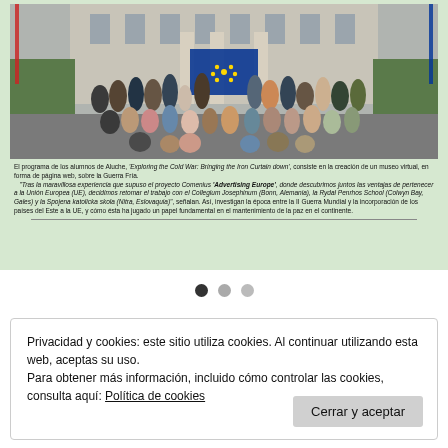[Figure (photo): Group photo of students and teachers standing in front of a building, holding a large EU flag with blue background and yellow stars. People are arranged in rows, some sitting in front.]
El programa de los alumnos de Aluche, 'Exploring the Cold War: Bringing the Iron Curtain down', consiste en la creación de un museo virtual, en forma de página web, sobre la Guerra Fría. "Tras la maravillosa experiencia que supuso el proyecto Comenius 'Advertising Europe', donde descubrimos juntos las ventajas de pertenecer a la Unión Europea (UE), decidimos retomar el trabajo con el Collegium Josephinum (Bonn, Alemania), la Rydal Penrhos School (Colwyn Bay, Gales) y la Spojena katolicka skola (Nitra, Eslovaquia)", señalan. Así, investigan la época entre la II Guerra Mundial y la incorporación de los países del Este a la UE, y cómo ésta ha jugado un papel fundamental en el mantenimiento de la paz en el continente.
[Figure (other): Three navigation dots: one dark (selected), two grey]
Privacidad y cookies: este sitio utiliza cookies. Al continuar utilizando esta web, aceptas su uso.
Para obtener más información, incluido cómo controlar las cookies, consulta aquí: Política de cookies
Cerrar y aceptar